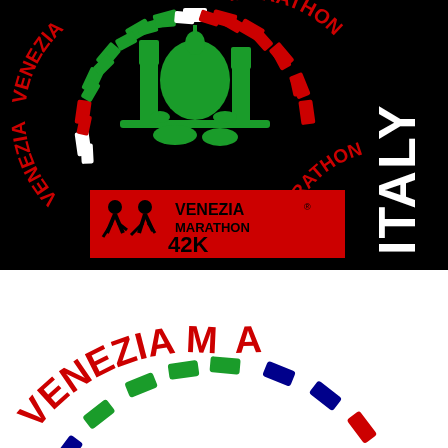[Figure (logo): Venezia Marathon Italy logo on black background. Circular arc text 'VENEZIA MARATHON' in red with green and white dashes around the arc. Center shows green silhouette of Venice cathedral/basilica. Below is a red rectangle banner with running figure icons and text 'VENEZIA MARATHON 42K' in black. On the right side vertical text 'ITALY' in white.]
[Figure (logo): Partial Venezia Marathon logo on white background. Shows arc text 'VENEZIA MARA' in red with green and blue dash segments. Center shows blue silhouette of a Venice tower/campanile. Image is cropped showing only the top portion of the circular logo.]